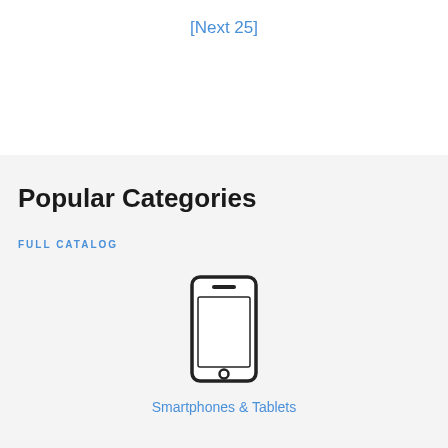[Next 25]
Popular Categories
FULL CATALOG
[Figure (illustration): Smartphone icon — outline drawing of a mobile phone with rounded rectangle body, speaker slot at top, home button circle at bottom]
Smartphones & Tablets